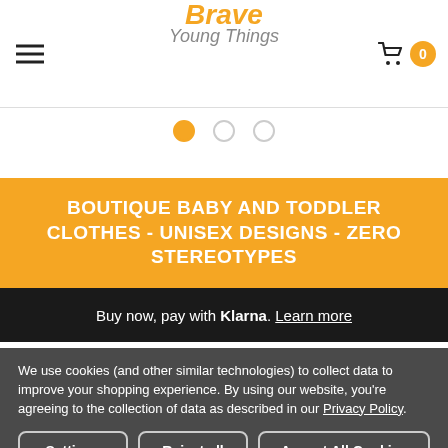Brave Young Things — navigation header with hamburger menu and cart
[Figure (other): Carousel slider dots: three dots, first (active) filled orange, other two empty circles]
BOUTIQUE BABY AND TODDLER CLOTHES - UNISEX DESIGNS - ZERO STEREOTYPES
Buy now, pay with Klarna. Learn more
We use cookies (and other similar technologies) to collect data to improve your shopping experience. By using our website, you're agreeing to the collection of data as described in our Privacy Policy.
Settings
Reject all
Accept All Cookies